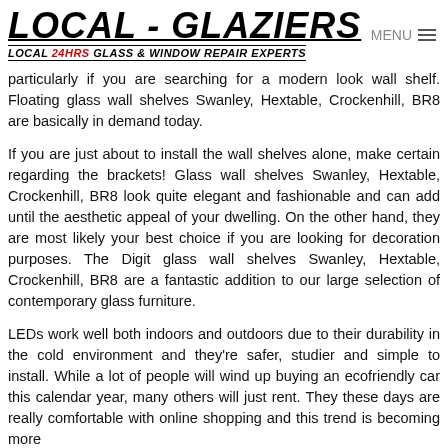LOCAL - GLAZIERS LOCAL 24HRS GLASS & WINDOW REPAIR EXPERTS
particularly if you are searching for a modern look wall shelf. Floating glass wall shelves Swanley, Hextable, Crockenhill, BR8 are basically in demand today.
If you are just about to install the wall shelves alone, make certain regarding the brackets! Glass wall shelves Swanley, Hextable, Crockenhill, BR8 look quite elegant and fashionable and can add until the aesthetic appeal of your dwelling. On the other hand, they are most likely your best choice if you are looking for decoration purposes. The Digit glass wall shelves Swanley, Hextable, Crockenhill, BR8 are a fantastic addition to our large selection of contemporary glass furniture.
LEDs work well both indoors and outdoors due to their durability in the cold environment and they're safer, studier and simple to install. While a lot of people will wind up buying an ecofriendly car this calendar year, many others will just rent. They these days are really comfortable with online shopping and this trend is becoming more